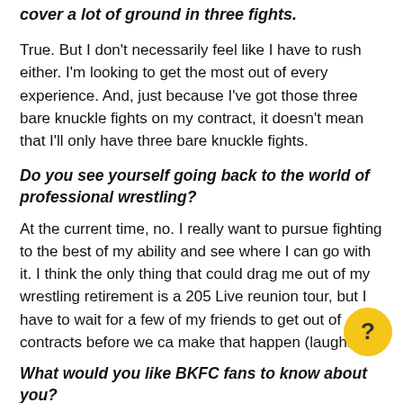cover a lot of ground in three fights.
True. But I don't necessarily feel like I have to rush either. I'm looking to get the most out of every experience. And, just because I've got those three bare knuckle fights on my contract, it doesn't mean that I'll only have three bare knuckle fights.
Do you see yourself going back to the world of professional wrestling?
At the current time, no. I really want to pursue fighting to the best of my ability and see where I can go with it. I think the only thing that could drag me out of my wrestling retirement is a 205 Live reunion tour, but I have to wait for a few of my friends to get out of contracts before we can make that happen (laughs).
What would you like BKFC fans to know about you?